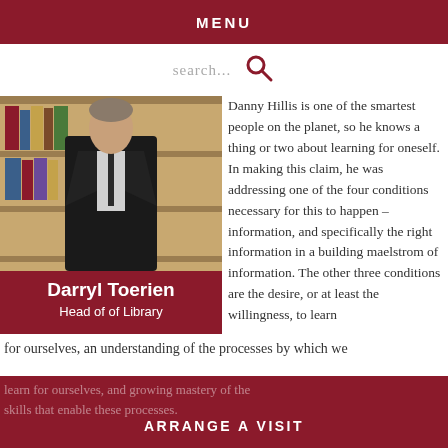MENU
search...
[Figure (photo): Portrait photo of Darryl Toerien, Head of Library, standing in front of bookshelves wearing a dark suit and tie.]
Darryl Toerien
Head of of Library
Danny Hillis is one of the smartest people on the planet, so he knows a thing or two about learning for oneself. In making this claim, he was addressing one of the four conditions necessary for this to happen – information, and specifically the right information in a building maelstrom of information. The other three conditions are the desire, or at least the willingness, to learn for ourselves, an understanding of the processes by which we learn for ourselves, and growing mastery of the skills that enable these processes.
ARRANGE A VISIT